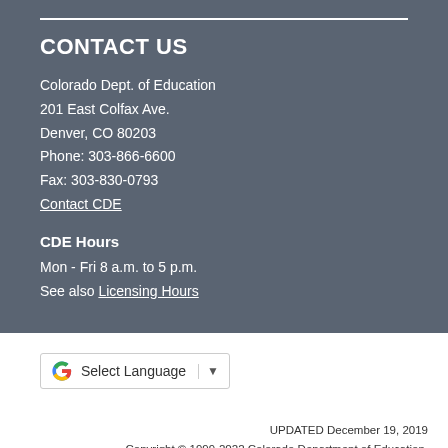CONTACT US
Colorado Dept. of Education
201 East Colfax Ave.
Denver, CO 80203
Phone: 303-866-6600
Fax: 303-830-0793
Contact CDE
CDE Hours
Mon - Fri 8 a.m. to 5 p.m.
See also Licensing Hours
[Figure (logo): Google Translate widget with G logo, Select Language text, and dropdown arrow]
UPDATED December 19, 2019
Copyright © 1999-2022 Colorado Department of Education. All rights reserved.
Title IX. Accessibility. Disclaimer. Privacy.